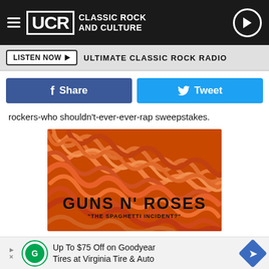UCR Classic Rock and Culture
LISTEN NOW ▶  ULTIMATE CLASSIC ROCK RADIO
[Figure (other): Facebook Share button and Twitter Tweet button side by side]
rockers-who shouldn't-ever-ever-rap sweepstakes.
[Figure (photo): Guns N' Roses - The Spaghetti Incident? album cover showing close-up of spaghetti noodles in tomato sauce with the band name and album title text overlaid]
Up To $75 Off on Goodyear Tires at Virginia Tire & Auto